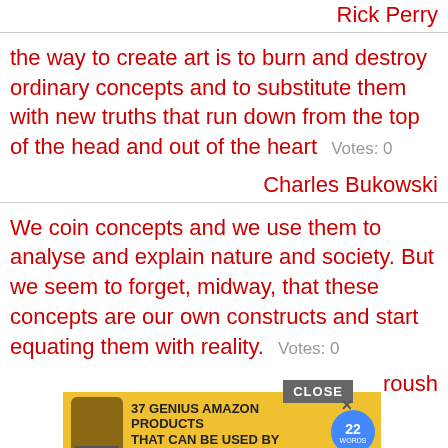Rick Perry
the way to create art is to burn and destroy ordinary concepts and to substitute them with new truths that run down from the top of the head and out of the heart  Votes: 0
Charles Bukowski
We coin concepts and we use them to analyse and explain nature and society. But we seem to forget, midway, that these concepts are our own constructs and start equating them with reality.  Votes: 0
roush
[Figure (screenshot): Advertisement banner: '37 GENIUS AMAZON PRODUCTS THAT CAN BE USED BY ANYONE' with a supplement bottle image and a blue circular badge with '22 WORDS'. A 'CLOSE' button appears above the ad and an X button is on the ad.]
What I am proposing this year are not lofty concepts far removed form the daily struggle